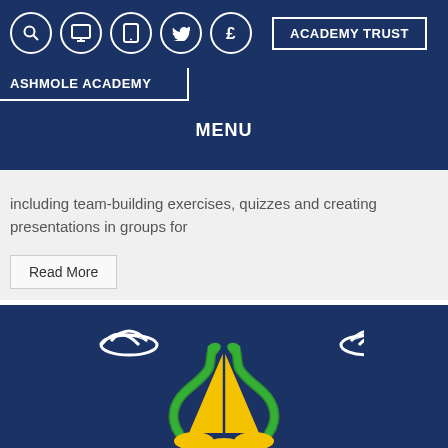ASHMOLE ACADEMY | ACADEMY TRUST | MENU
including team-building exercises, quizzes and creating presentations in groups for
Read More
[Figure (logo): Ashmole Academy crest/logo on dark blue background — two snakes intertwined around a central gold/yellow triangle, with white wing motifs above on a navy blue background.]